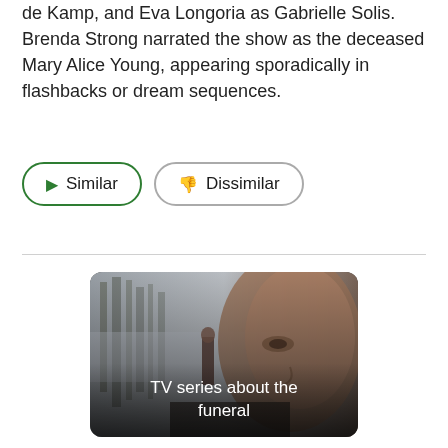de Kamp, and Eva Longoria as Gabrielle Solis. Brenda Strong narrated the show as the deceased Mary Alice Young, appearing sporadically in flashbacks or dream sequences.
Similar
Dissimilar
[Figure (photo): TV series promotional image showing two women in a misty forest scene with text overlay 'TV series about the funeral']
TV series about the funeral